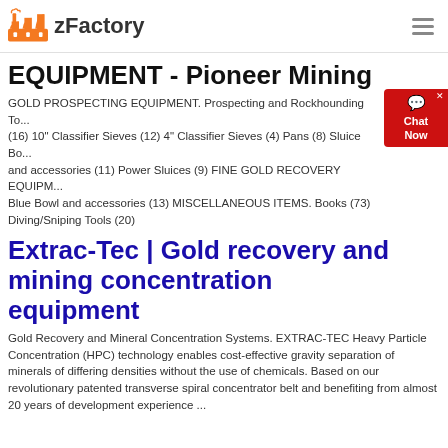zFactory
EQUIPMENT - Pioneer Mining
GOLD PROSPECTING EQUIPMENT. Prospecting and Rockhounding To... (16) 10" Classifier Sieves (12) 4" Classifier Sieves (4) Pans (8) Sluice Bo... and accessories (11) Power Sluices (9) FINE GOLD RECOVERY EQUIPM... Blue Bowl and accessories (13) MISCELLANEOUS ITEMS. Books (73) Diving/Sniping Tools (20)
Extrac-Tec | Gold recovery and mining concentration equipment
Gold Recovery and Mineral Concentration Systems. EXTRAC-TEC Heavy Particle Concentration (HPC) technology enables cost-effective gravity separation of minerals of differing densities without the use of chemicals. Based on our revolutionary patented transverse spiral concentrator belt and benefiting from almost 20 years of development experience ...